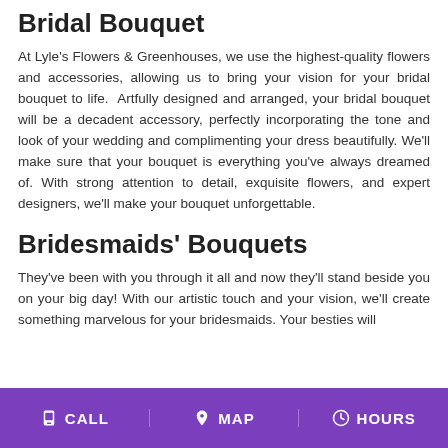Bridal Bouquet
At Lyle's Flowers & Greenhouses, we use the highest-quality flowers and accessories, allowing us to bring your vision for your bridal bouquet to life. Artfully designed and arranged, your bridal bouquet will be a decadent accessory, perfectly incorporating the tone and look of your wedding and complimenting your dress beautifully. We'll make sure that your bouquet is everything you've always dreamed of. With strong attention to detail, exquisite flowers, and expert designers, we'll make your bouquet unforgettable.
Bridesmaids' Bouquets
They've been with you through it all and now they'll stand beside you on your big day! With our artistic touch and your vision, we'll create something marvelous for your bridesmaids. Your besties will
CALL   MAP   HOURS